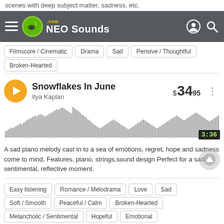scenes with deep subject matter, sadness, etc.
[Figure (screenshot): NEO Sounds website navigation bar with hamburger menu, logo, and search/user icons on dark gray background]
Filmscore / Cinematic
Drama
Sad
Pensive / Thoughtful
Broken-Hearted
Snowflakes In June
Ilya Kaplan
$34.95
[Figure (other): Audio waveform visualization for Snowflakes In June, showing gray bars of varying height representing the audio signal, with a time indicator showing 3:36 in the bottom right]
A sad piano melody cast in to a sea of emotions, regret, hope and sadness come to mind, Features, piano, strings,sound design Perfect for a sad, sentimental, reflective moment.
Easy listening
Romance / Melodrama
Love
Sad
Soft / Smooth
Peaceful / Calm
Broken-Hearted
Melancholic / Sentimental
Hopeful
Emotional